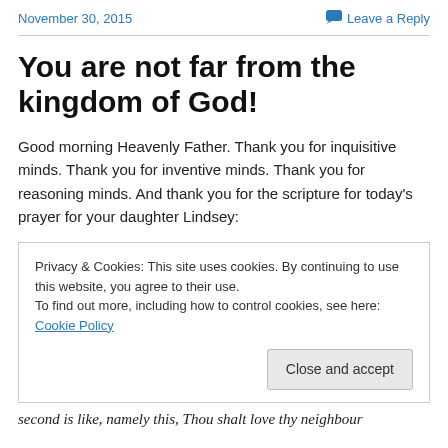November 30, 2015   Leave a Reply
You are not far from the kingdom of God!
Good morning Heavenly Father. Thank you for inquisitive minds. Thank you for inventive minds. Thank you for reasoning minds. And thank you for the scripture for today's prayer for your daughter Lindsey:
Privacy & Cookies: This site uses cookies. By continuing to use this website, you agree to their use.
To find out more, including how to control cookies, see here: Cookie Policy

Close and accept
second is like, namely this, Thou shalt love thy neighbour